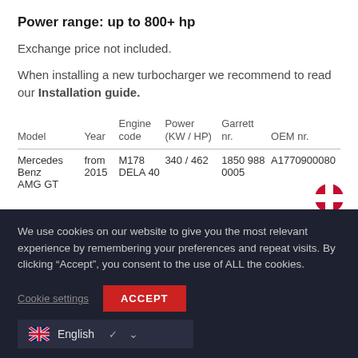Power range: up to 800+ hp
Exchange price not included.
When installing a new turbocharger we recommend to read our Installation guide.
| Model | Year | Engine code | Power (KW / HP) | Garrett nr. | OEM nr. |
| --- | --- | --- | --- | --- | --- |
| Mercedes Benz AMG GT | from 2015 | M178 DELA 40 | 340 / 462 | 1850 988 0005 | A1770900080 |
We use cookies on our website to give you the most relevant experience by remembering your preferences and repeat visits. By clicking “Accept”, you consent to the use of ALL the cookies.
Cookie settings  ACCEPT
English